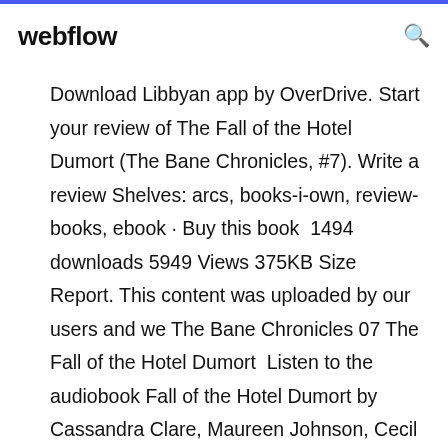webflow
Download Libbyan app by OverDrive. Start your review of The Fall of the Hotel Dumort (The Bane Chronicles, #7). Write a review Shelves: arcs, books-i-own, review-books, ebook · Buy this book  1494 downloads 5949 Views 375KB Size Report. This content was uploaded by our users and we The Bane Chronicles 07 The Fall of the Hotel Dumort  Listen to the audiobook Fall of the Hotel Dumort by Cassandra Clare, Maureen Johnson, Cecil Baldwin at Simon & Schuster. Unabridged Audio Download. Magnus Bane watches the once-glamorous Hotel Dumort become something else altogether in 1970s New York City. One of ten adventures in